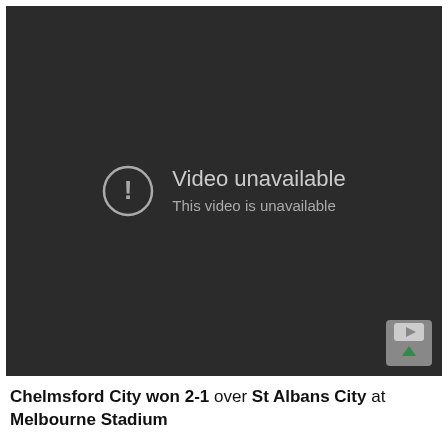[Figure (screenshot): YouTube video player showing 'Video unavailable' error on a dark background. An exclamation mark in a circle icon appears on the left, with text 'Video unavailable' and 'This video is unavailable' on the right. A YouTube logo button with a green up arrow is in the bottom-right corner.]
Chelmsford City won 2-1 over St Albans City at Melbourne Stadium